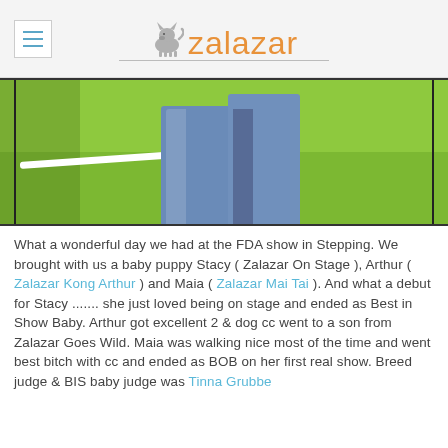zalazar
[Figure (photo): Outdoor photo showing the lower half of a person wearing blue jeans standing on green grass with a white line marking visible]
What a wonderful day we had at the FDA show in Stepping. We brought with us a baby puppy Stacy ( Zalazar On Stage ), Arthur ( Zalazar Kong Arthur ) and Maia ( Zalazar Mai Tai ). And what a debut for Stacy ....... she just loved being on stage and ended as Best in Show Baby. Arthur got excellent 2 & dog cc went to a son from Zalazar Goes Wild. Maia was walking nice most of the time and went best bitch with cc and ended as BOB on her first real show. Breed judge & BIS baby judge was Tinna Grubbe